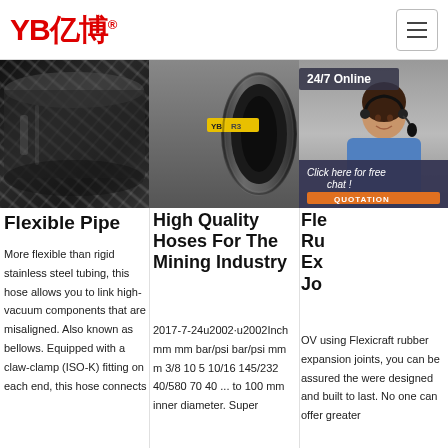YB亿博® [navigation logo with hamburger menu]
[Figure (photo): Close-up of black braided flexible hose/pipe]
[Figure (photo): Grey rubber hose with yellow YB R3 label, end view]
[Figure (photo): Customer service representative with headset, 24/7 Online badge, Click here for free chat overlay with QUOTATION button]
Flexible Pipe
More flexible than rigid stainless steel tubing, this hose allows you to link high-vacuum components that are misaligned. Also known as bellows. Equipped with a claw-clamp (ISO-K) fitting on each end, this hose connects
High Quality Hoses For The Mining Industry
2017-7-24u2002·u2002Inch mm mm bar/psi bar/psi mm m 3/8 10 5 10/16 145/232 40/580 70 40 ... to 100 mm inner diameter. Super
Fle Ru Ex Jo
OV using Flexicraft rubber expansion joints, you can be assured the were designed and built to last. No one can offer greater